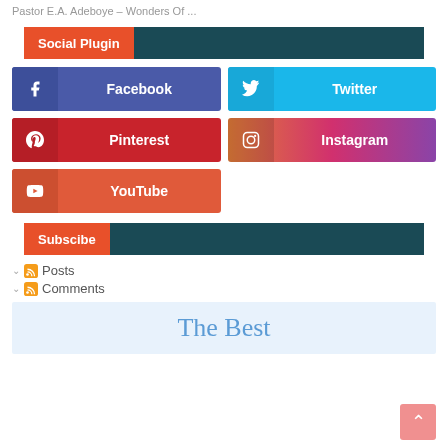Pastor E.A. Adeboye – Wonders Of ...
Social Plugin
[Figure (infographic): Social media plugin buttons: Facebook, Twitter, Pinterest, Instagram, YouTube]
Subscibe
Posts
Comments
The Best